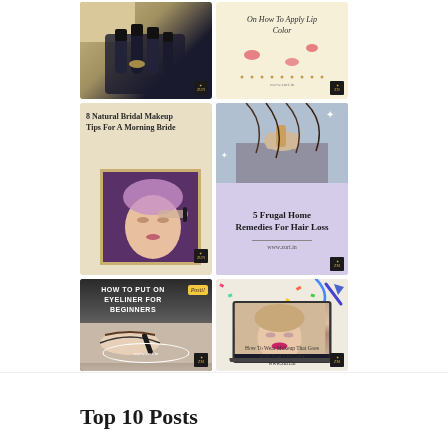[Figure (photo): Grid of 6 beauty/makeup blog post thumbnails showing nail art, lip color tips, bridal makeup, hair loss remedies, eyeliner tutorial, and makeup for lip color posts]
Top 10 Posts